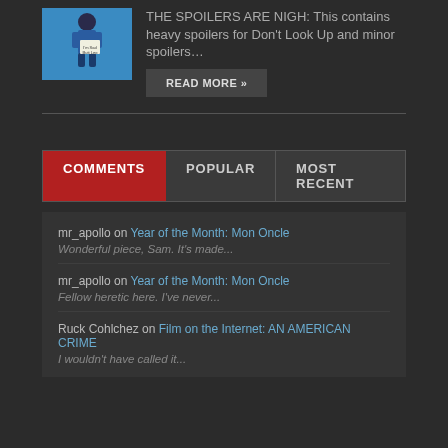[Figure (illustration): Thumbnail image of a cartoon figure on a blue background holding a sign that reads 'I'm Sad Butt Leo']
THE SPOILERS ARE NIGH: This contains heavy spoilers for Don't Look Up and minor spoilers…
READ MORE »
COMMENTS | POPULAR | MOST RECENT
mr_apollo on Year of the Month: Mon Oncle
Wonderful piece, Sam. It's made...
mr_apollo on Year of the Month: Mon Oncle
Fellow heretic here. I've never...
Ruck Cohlchez on Film on the Internet: AN AMERICAN CRIME
I wouldn't have called it...